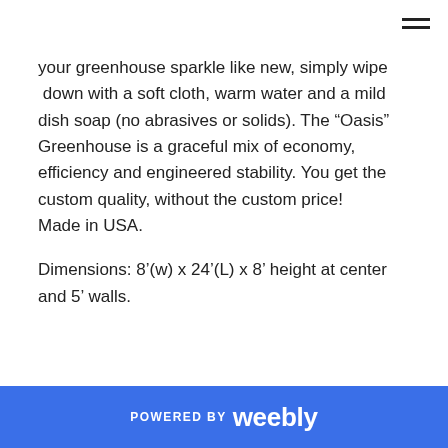your greenhouse sparkle like new, simply wipe  down with a soft cloth, warm water and a mild dish soap (no abrasives or solids). The "Oasis" Greenhouse is a graceful mix of economy, efficiency and engineered stability. You get the custom quality, without the custom price!
Made in USA.
Dimensions: 8’(w) x 24’(L) x 8’ height at center and 5’ walls.
POWERED BY weebly